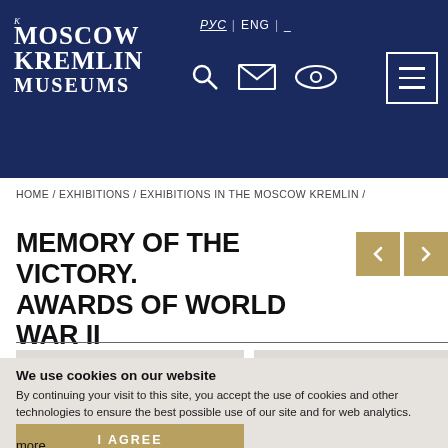Moscow Kremlin Museums | РУС | ENG | navigation icons | hamburger menu
HOME / EXHIBITIONS / EXHIBITIONS IN THE MOSCOW KREMLIN /
MEMORY OF THE VICTORY. AWARDS OF WORLD WAR II
[Figure (photo): Two museum exhibition panels showing medal/award artifacts on light grey background]
We use cookies on our website By continuing your visit to this site, you accept the use of cookies and other technologies to ensure the best possible use of our site and for web analytics.
I AGREE
more